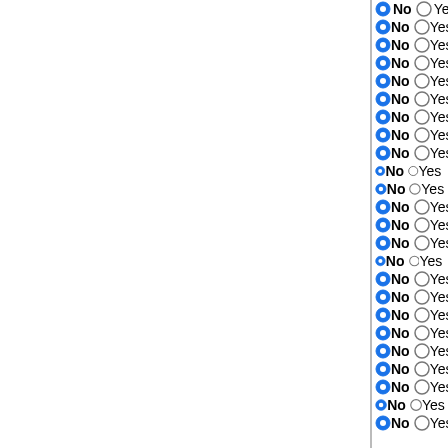No / Yes — Zusimidium celiare AFCC 30...
No / Yes — Dothistroma septosporum
No / Yes — Septoria musiva v1.0
No / Yes — Mycosphaerella fijiensis CIR...
No / Yes — Aureobasidium pullulans var...
No / Yes — Coccidioides posadasii RMS...
No / Yes — Coccidioides immitis RS
No / Yes — Ajellomyces dermatitidis SLH...
No / Yes — Histoplasma capsulatum cla...
No / Yes — Microsporum canis CBS 113...
No / Yes — Trichophyton equinum CBS 1...
No / Yes — Trichophyton verrucosum HK...
No / Yes — Arthroderma benhamiae CBS...
No / Yes — Trichophyton tonsurans CBS...
No / Yes — Trichophyton rubrum CBS 11...
No / Yes — Uncinocarpus reesii 1704
No / Yes — Aspergillus zonatus v1.0
No / Yes — Penicillium chrysogenum Wi...
No / Yes — Penicillium chrysogenum v1....
No / Yes — Aspergillus acidus v1.0
No / Yes — Aspergillus fumigatus Af293
No / Yes — Aspergillus brasiliensis v1.0
No / Yes — Aspergillus nidulans FGSC A...
No / Yes — Aspergillus sydowii v1.0